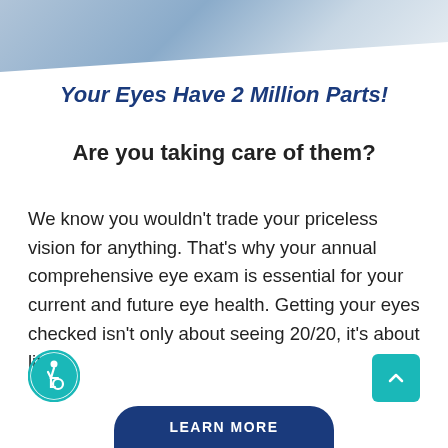[Figure (photo): Partial photo strip at the top of the page showing a person, partially cut off]
Your Eyes Have 2 Million Parts!
Are you taking care of them?
We know you wouldn’t trade your priceless vision for anything. That’s why your annual comprehensive eye exam is essential for your current and future eye health. Getting your eyes checked isn’t only about seeing 20/20, it’s about life.